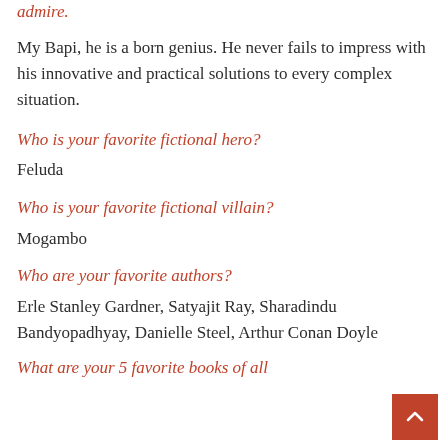admire.
My Bapi, he is a born genius. He never fails to impress with his innovative and practical solutions to every complex situation.
Who is your favorite fictional hero?
Feluda
Who is your favorite fictional villain?
Mogambo
Who are your favorite authors?
Erle Stanley Gardner, Satyajit Ray, Sharadindu Bandyopadhyay, Danielle Steel, Arthur Conan Doyle
What are your 5 favorite books of all